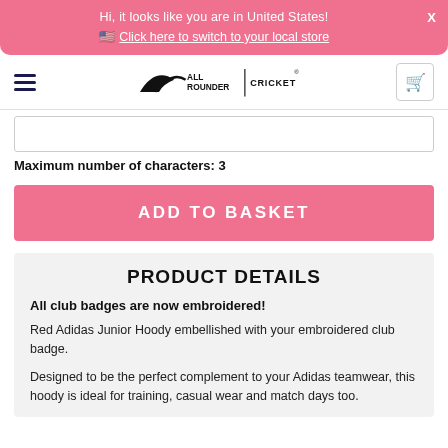Hi, it looks like you are in United States! 🇺🇸 Click here to switch to your local store
[Figure (logo): All Rounder Cricket logo with hamburger menu and cart icon]
Maximum number of characters: 3
ADD TO BASKET
PRODUCT DETAILS
All club badges are now embroidered!
Red Adidas Junior Hoody embellished with your embroidered club badge.
Designed to be the perfect complement to your Adidas teamwear, this hoody is ideal for training, casual wear and match days too.